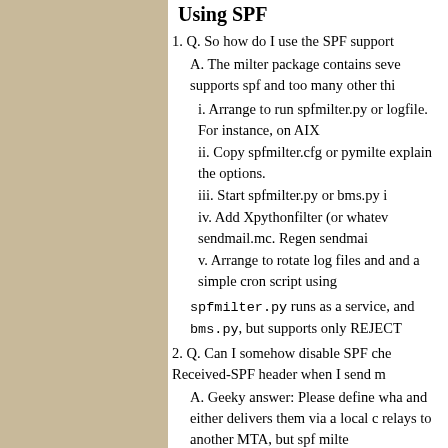Using SPF
1. Q. So how do I use the SPF support
A. The milter package contains seve supports spf and too many other thi
i. Arrange to run spfmilter.py or logfile. For instance, on AIX
ii. Copy spfmilter.cfg or pymilte explain the options.
iii. Start spfmilter.py or bms.py i
iv. Add Xpythonfilter (or whatev sendmail.mc. Regen sendmai
v. Arrange to rotate log files and and a simple cron script using
spfmilter.py runs as a service, and bms.py, but supports only REJECT
2. Q. Can I somehow disable SPF che Received-SPF header when I send m
A. Geeky answer: Please define wh and either delivers them via a local relays to another MTA, but spf milte